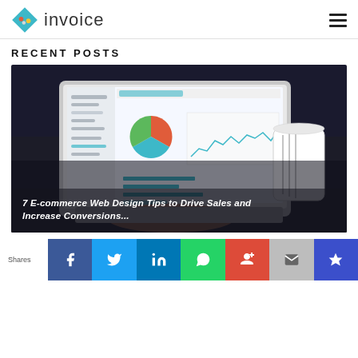invoice
RECENT POSTS
[Figure (photo): Laptop showing analytics dashboard with pie chart and bar charts, with a coffee mug beside it on a dark surface. Overlay text: '7 E-commerce Web Design Tips to Drive Sales and Increase Conversions...']
Shares